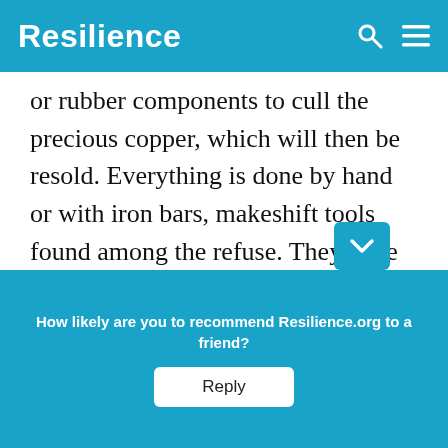Resilience
or rubber components to cull the precious copper, which will then be resold. Everything is done by hand or with iron bars, makeshift tools found among the refuse. They have neither masks nor gloves. There are not even any functioning toilets. The
f
are
How likely are you to recommend Resilience.org to a friend?
Reply